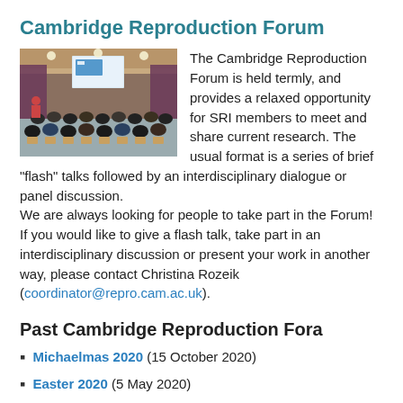Cambridge Reproduction Forum
[Figure (photo): Photo of a lecture hall with audience members seated, facing a presentation screen at the front of the room.]
The Cambridge Reproduction Forum is held termly, and provides a relaxed opportunity for SRI members to meet and share current research. The usual format is a series of brief "flash" talks followed by an interdisciplinary dialogue or panel discussion.
We are always looking for people to take part in the Forum! If you would like to give a flash talk, take part in an interdisciplinary discussion or present your work in another way, please contact Christina Rozeik (coordinator@repro.cam.ac.uk).
Past Cambridge Reproduction Fora
Michaelmas 2020 (15 October 2020)
Easter 2020 (5 May 2020)